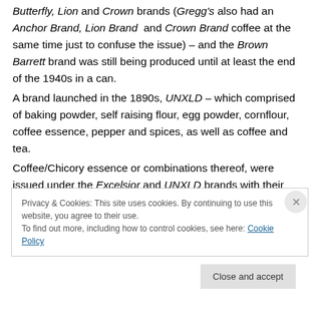Butterfly, Lion and Crown brands (Gregg's also had an Anchor Brand, Lion Brand and Crown Brand coffee at the same time just to confuse the issue) – and the Brown Barrett brand was still being produced until at least the end of the 1940s in a can.
A brand launched in the 1890s, UNXLD – which comprised of baking powder, self raising flour, egg powder, cornflour, coffee essence, pepper and spices, as well as coffee and tea.
Coffee/Chicory essence or combinations thereof, were issued under the Excelsior and UNXLD brands with their
Privacy & Cookies: This site uses cookies. By continuing to use this website, you agree to their use. To find out more, including how to control cookies, see here: Cookie Policy
Close and accept